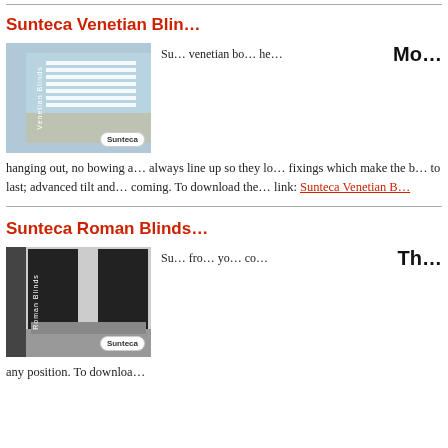Sunteca Venetian Blin...
[Figure (photo): Photo of a room with Sunteca Venetian blinds in a light blue bedroom setting, with Venetian Blinds label on left side and Sunteca logo bottom right]
Mo... Su... venetian bo... he... hanging out, no bowing a... always line up so they lo... fixings which make the b... to last; advanced tilt and... coming. To download the... link: Sunteca Venetian B...
Sunteca Roman Blinds...
[Figure (photo): Photo of a room with Sunteca Roman Blinds showing dark/black roman blinds on windows above a sofa, Roman Blinds label on left and Sunteca logo bottom right]
Th... Su... fro... yo... co... any position. To downloa...